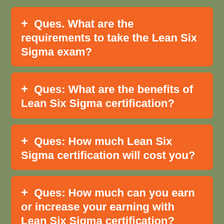+ Ques. What are the requirements to take the Lean Six Sigma exam?
+ Ques: What are the benefits of Lean Six Sigma certification?
+ Ques: How much Lean Six Sigma certification will cost you?
+ Ques: How much can you earn or increase your earning with Lean Six Sigma certification?